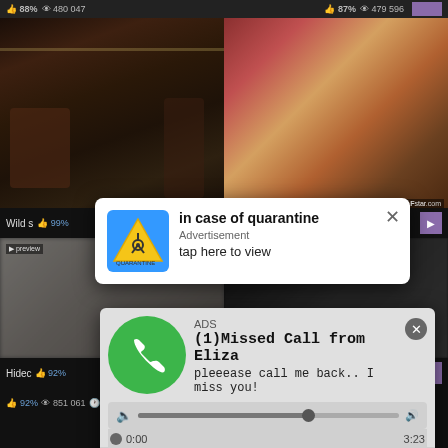[Figure (screenshot): Screenshot of adult video website with two video thumbnails in top row and two blurred thumbnails in bottom row, overlaid by two advertisement popups]
88% 480 047
87% 479 596
Wild s... 99%
in case of quarantine
Advertisement
tap here to view
ADS
(1)Missed Call from Eliza
pleeease call me back.. I miss you!
0:00
3:23
Hidec... 92%  851 061  4:00
86%  401 696